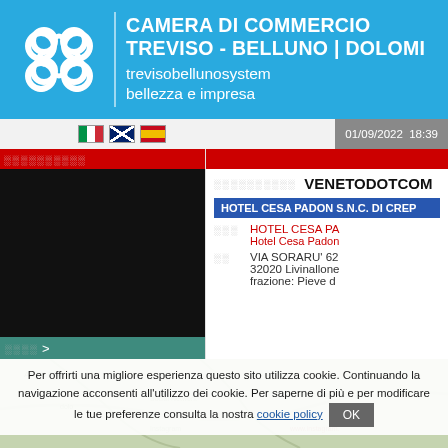[Figure (screenshot): Screenshot of Camera di Commercio Treviso-Belluno Dolomiti website showing company registry entry for VENETODOTCOM / HOTEL CESA PADON S.N.C., with header banner, navigation bar with flags, date 01/09/2022 18:39, company details including address VIA SORARU' 62, 32020 Livinallone, frazione: Pieve d..., and a cookie consent banner at bottom.]
CAMERA DI COMMERCIO TREVISO - BELLUNO | DOLOMITI trevisobellunosystem bellezza e impresa
01/09/2022  18:39
VENETODOTCOM
HOTEL CESA PADON S.N.C. DI CREP...
HOTEL CESA PA...
Hotel Cesa Padon...
VIA SORARU' 62
32020 Livinallone
frazione: Pieve d...
Per offrirti una migliore esperienza questo sito utilizza cookie. Continuando la navigazione acconsenti all'utilizzo dei cookie. Per saperne di più e per modificare le tue preferenze consulta la nostra cookie policy  OK